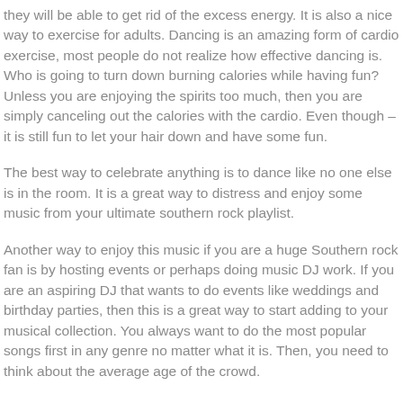they will be able to get rid of the excess energy. It is also a nice way to exercise for adults. Dancing is an amazing form of cardio exercise, most people do not realize how effective dancing is. Who is going to turn down burning calories while having fun? Unless you are enjoying the spirits too much, then you are simply canceling out the calories with the cardio. Even though – it is still fun to let your hair down and have some fun.
The best way to celebrate anything is to dance like no one else is in the room. It is a great way to distress and enjoy some music from your ultimate southern rock playlist.
Another way to enjoy this music if you are a huge Southern rock fan is by hosting events or perhaps doing music DJ work. If you are an aspiring DJ that wants to do events like weddings and birthday parties, then this is a great way to start adding to your musical collection. You always want to do the most popular songs first in any genre no matter what it is. Then, you need to think about the average age of the crowd.